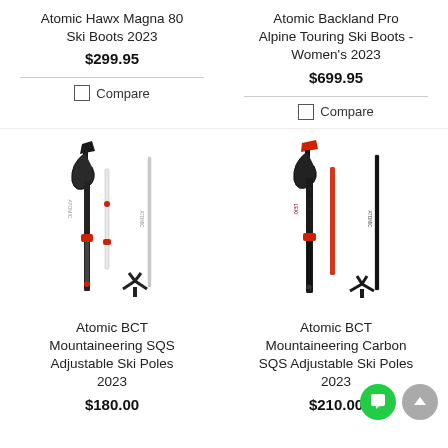Atomic Hawx Magna 80 Ski Boots 2023
$299.95
Compare
Atomic Backland Pro Alpine Touring Ski Boots - Women's 2023
$699.95
Compare
[Figure (photo): Atomic BCT Mountaineering SQS Adjustable Ski Poles 2023 - black and white adjustable ski poles with red accents]
Atomic BCT Mountaineering SQS Adjustable Ski Poles 2023
$180.00
[Figure (photo): Atomic BCT Mountaineering Carbon SQS Adjustable Ski Poles 2023 - black and red carbon adjustable ski poles]
Atomic BCT Mountaineering Carbon SQS Adjustable Ski Poles 2023
$210.00